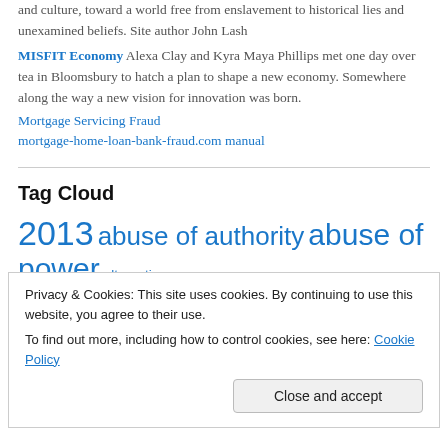and culture, toward a world free from enslavement to historical lies and unexamined beliefs. Site author John Lash
MISFIT Economy Alexa Clay and Kyra Maya Phillips met one day over tea in Bloomsbury to hatch a plan to shape a new economy. Somewhere along the way a new vision for innovation was born.
Mortgage Servicing Fraud
mortgage-home-loan-bank-fraud.com manual
Tag Cloud
2013 abuse of authority abuse of power alternative
awareness banking
Privacy & Cookies: This site uses cookies. By continuing to use this website, you agree to their use. To find out more, including how to control cookies, see here: Cookie Policy
Close and accept